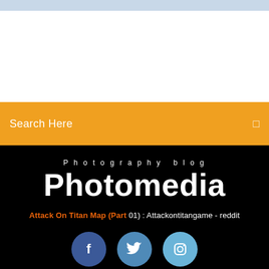[Figure (screenshot): Light blue/grey top banner strip at the top of the page]
Search Here
Photography blog
Photomedia
Attack On Titan Map (Part 01) : Attackontitangame - reddit
[Figure (illustration): Three social media icons: Facebook (dark blue circle), Twitter (medium blue circle), Instagram (light blue circle)]